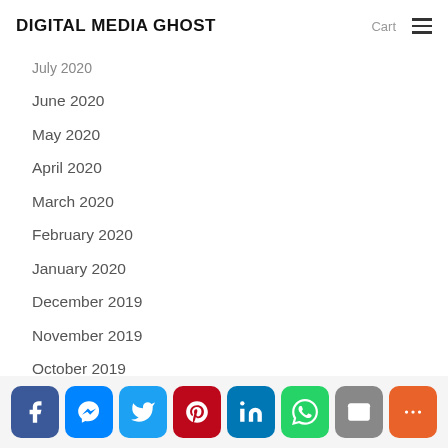DIGITAL MEDIA GHOST  Cart ≡
July 2020
June 2020
May 2020
April 2020
March 2020
February 2020
January 2020
December 2019
November 2019
October 2019
September 2019
August 2019
July 2019
June 2019
[Figure (infographic): Social share bar with icons: Facebook, Messenger, Twitter, Pinterest, LinkedIn, WhatsApp, Email, More]